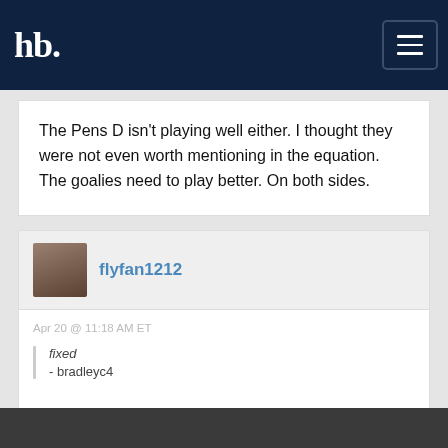hb [hamburger menu]
The Pens D isn't playing well either. I thought they were not even worth mentioning in the equation. The goalies need to play better. On both sides.
flyfan1212
Apr 20 @ 11:18 AM ET
fixed
- bradleyc4
leighton will start game 6